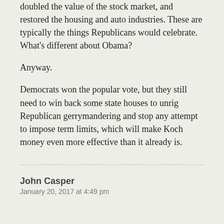doubled the value of the stock market, and restored the housing and auto industries. These are typically the things Republicans would celebrate. What’s different about Obama?
Anyway.
Democrats won the popular vote, but they still need to win back some state houses to unrig Republican gerrymandering and stop any attempt to impose term limits, which will make Koch money even more effective than it already is.
John Casper
January 20, 2017 at 4:49 pm